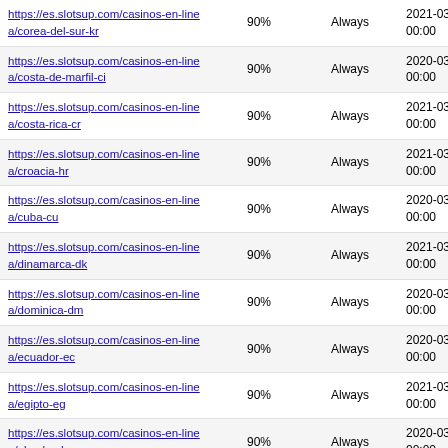| https://es.slotsup.com/casinos-en-linea/corea-del-sur-kr | 90% | Always | 2021-03-12 00:00 |
| https://es.slotsup.com/casinos-en-linea/costa-de-marfil-ci | 90% | Always | 2020-03-01 00:00 |
| https://es.slotsup.com/casinos-en-linea/costa-rica-cr | 90% | Always | 2021-03-18 00:00 |
| https://es.slotsup.com/casinos-en-linea/croacia-hr | 90% | Always | 2021-03-18 00:00 |
| https://es.slotsup.com/casinos-en-linea/cuba-cu | 90% | Always | 2020-03-01 00:00 |
| https://es.slotsup.com/casinos-en-linea/dinamarca-dk | 90% | Always | 2021-03-18 00:00 |
| https://es.slotsup.com/casinos-en-linea/dominica-dm | 90% | Always | 2020-03-01 00:00 |
| https://es.slotsup.com/casinos-en-linea/ecuador-ec | 90% | Always | 2020-03-01 00:00 |
| https://es.slotsup.com/casinos-en-linea/egipto-eg | 90% | Always | 2021-03-12 00:00 |
| https://es.slotsup.com/casinos-en-linea/el-salvador-sv | 90% | Always | 2020-03-01 00:00 |
| https://es.slotsup.com/casinos-en-linea/emiratos-arabes-unidos-ae | 90% | Always | 2021-03-12 00:00 |
| https://es.slotsup.com/casinos-en-linea/eritrea-er | 90% | Always | 2020-03-01 00:00 |
| https://es.slotsup.com/casinos-en-linea/eslovenia-si | 90% | Always | 2021-03-12 00:00 |